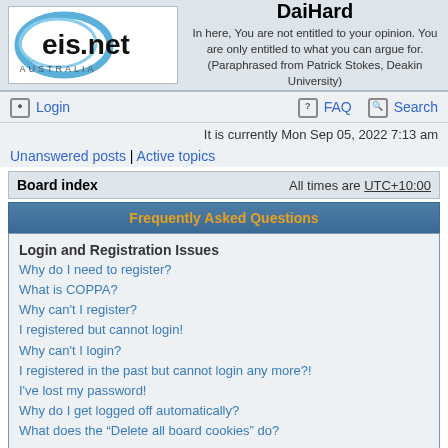[Figure (logo): eis.net AUSTRALIA logo — black text 'eis.net' with blue oval/circle graphic and word AUSTRALIA below]
DaiHard
In here, You are not entitled to your opinion. You are only entitled to what you can argue for. (Paraphrased from Patrick Stokes, Deakin University)
Login
FAQ   Search
It is currently Mon Sep 05, 2022 7:13 am
Unanswered posts | Active topics
Board index   All times are UTC+10:00
Frequently Asked Questions
Login and Registration Issues
Why do I need to register?
What is COPPA?
Why can't I register?
I registered but cannot login!
Why can't I login?
I registered in the past but cannot login any more?!
I've lost my password!
Why do I get logged off automatically?
What does the "Delete all board cookies" do?
User Preferences and settings
How do I change my settings?
How do I prevent my username appearing in the online user listings?